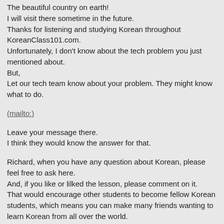The beautiful country on earth!
I will visit there sometime in the future.
Thanks for listening and studying Korean throughout KoreanClass101.com.
Unfortunately, I don't know about the tech problem you just mentioned about.
But,
Let our tech team know about your problem. They might know what to do.
(mailto:)
Leave your message there.
I think they would know the answer for that.
Richard, when you have any question about Korean, please feel free to ask here.
And, if you like or lilked the lesson, please comment on it.
That would encourage other students to become fellow Korean students, which means you can make many friends wanting to learn Korean from all over the world.
Furthermore, it will give me power and strength to work harder.
Most importantly, I want to be your friend - a good friend.
Thanks Richard,
cheers,